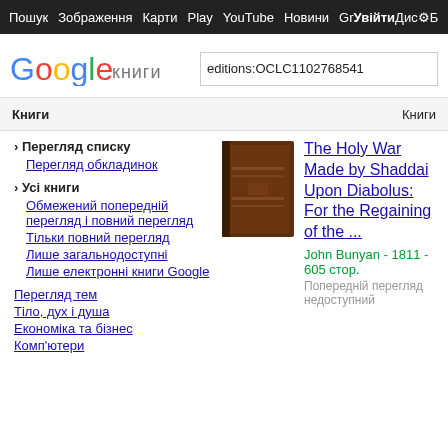Пошук  Зображення  Карти  Play  YouTube  Новини  Gmail  Диск  Увійти
[Figure (logo): Google Книги logo with colorful Google letters]
editions:OCLC1102768541
Книги    Книги
› Перегляд списку
Перегляд обкладинок
› Усі книги
Обмежений попередній перегляд і повний перегляд
Тільки повний перегляд
Лише загальнодоступні
Лише електронні книги Google
Перегляд тем
Тіло, дух і душа
Економіка та бізнес
Комп'ютери
[Figure (photo): Brown book cover thumbnail for The Holy War]
The Holy War Made by Shaddai Upon Diabolus: For the Regaining of the ...
John Bunyan - 1811 - 605 стор.
Попередній перегляд недоступний